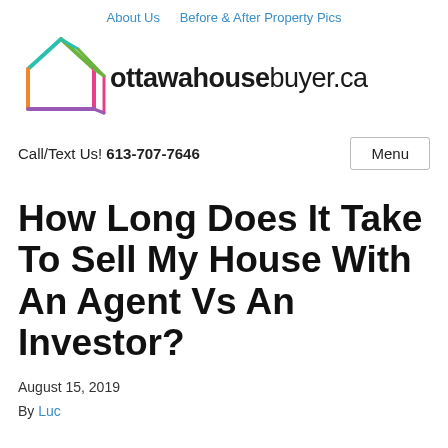About Us   Before & After Property Pics
[Figure (logo): Colorful house outline logo made of geometric lines in teal, green, pink, orange, and purple, representing ottawahousebuyer.ca brand]
How Long Does It Take To Sell My House With An Agent Vs An Investor?
August 15, 2019
By Luc